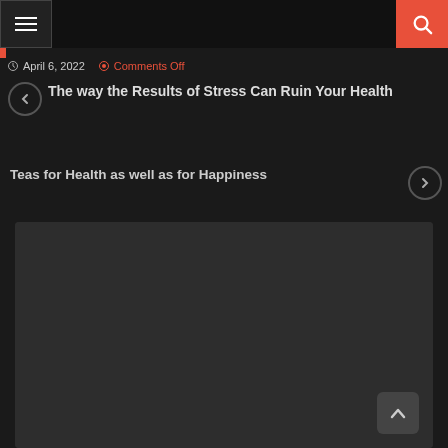Navigation bar with menu icon and search icon
April 6, 2022   Comments Off
The way the Results of Stress Can Ruin Your Health
Teas for Health as well as for Happiness
[Figure (screenshot): Dark image/content area placeholder at bottom of page]